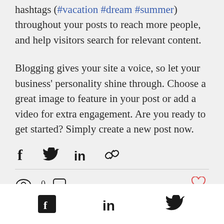hashtags (#vacation #dream #summer) throughout your posts to reach more people, and help visitors search for relevant content.

Blogging gives your site a voice, so let your business' personality shine through. Choose a great image to feature in your post or add a video for extra engagement. Are you ready to get started? Simply create a new post now.
[Figure (other): Social share icons: Facebook (f), Twitter bird, LinkedIn (in), link/chain icon]
[Figure (other): Post meta row: eye icon with 0 views, comment bubble icon, heart (like) icon in red/pink on right]
[Figure (other): Footer bar with Facebook, LinkedIn, and Twitter icons in black on white background]